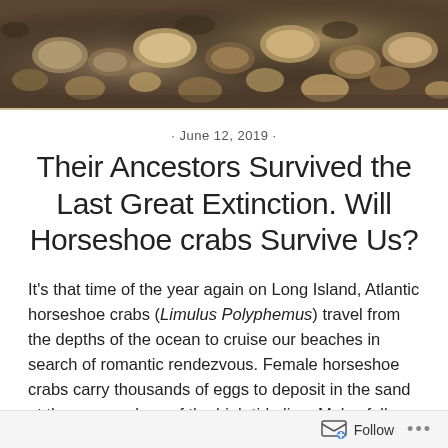[Figure (photo): Close-up photograph of wet pebbles and rocks on a beach or shoreline, with earthy brown and tan tones.]
· June 12, 2019 ·
Their Ancestors Survived the Last Great Extinction. Will Horseshoe crabs Survive Us?
It's that time of the year again on Long Island, Atlantic horseshoe crabs (Limulus Polyphemus) travel from the depths of the ocean to cruise our beaches in search of romantic rendezvous. Female horseshoe crabs carry thousands of eggs to deposit in the sand at the upper edges of the high tide line. Males follow, jostling each other for
Follow